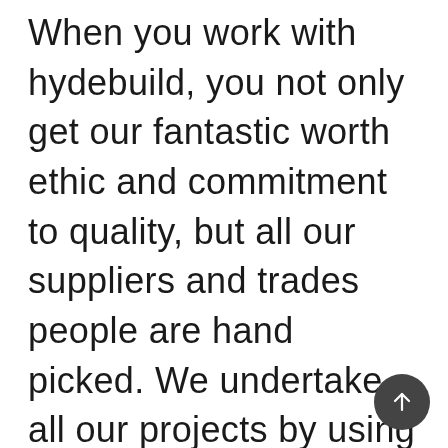When you work with hydebuild, you not only get our fantastic worth ethic and commitment to quality, but all our suppliers and trades people are hand picked. We undertake all our projects by using the same vetted trades and suppliers. This allows for a cohesive team who respect each other. A great working team results in a smooth project process, great communication and ensures consistent quality
[Figure (other): Dark circular scroll-to-top button with upward arrow icon, positioned bottom-right]